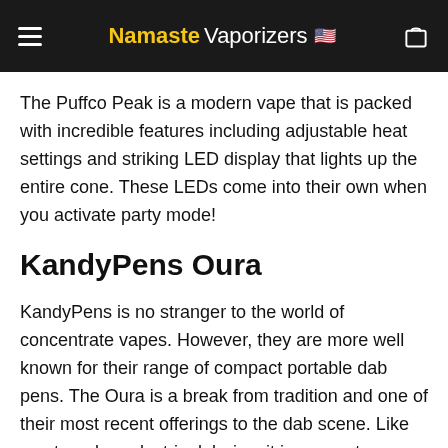NamasteVaporizers
The Puffco Peak is a modern vape that is packed with incredible features including adjustable heat settings and striking LED display that lights up the entire cone. These LEDs come into their own when you activate party mode!
KandyPens Oura
KandyPens is no stranger to the world of concentrate vapes. However, they are more well known for their range of compact portable dab pens. The Oura is a break from tradition and one of their most recent offerings to the dab scene. Like most modern electric dab rigs, it incorporates a bubbler